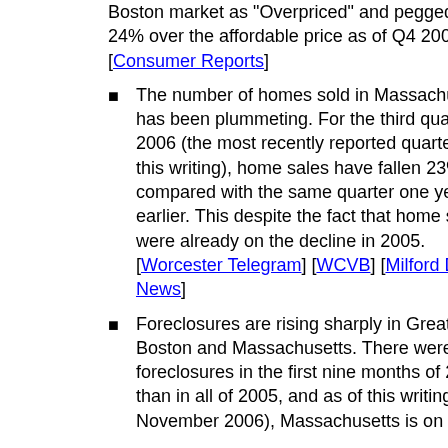Boston market as "Overpriced" and pegged it at 24% over the affordable price as of Q4 2004. [Consumer Reports]
The number of homes sold in Massachusetts has been plummeting. For the third quarter of 2006 (the most recently reported quarter as of this writing), home sales have fallen 23% compared with the same quarter one year earlier. This despite the fact that home sales were already on the decline in 2005. [Worcester Telegram] [WCVB] [Milford Daily News]
Foreclosures are rising sharply in Greater Boston and Massachusetts. There were more foreclosures in the first nine months of 2006 than in all of 2005, and as of this writing (in November 2006), Massachusetts is on track